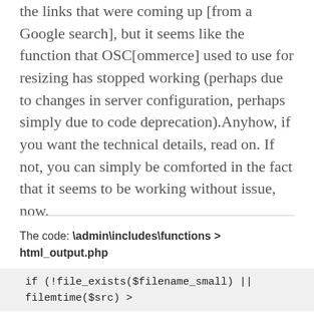the links that were coming up [from a Google search], but it seems like the function that OSC[ommerce] used to use for resizing has stopped working (perhaps due to changes in server configuration, perhaps simply due to code deprecation).Anyhow, if you want the technical details, read on. If not, you can simply be comforted in the fact that it seems to be working without issue, now.
The code: \admin\includes\functions > html_output.php
if (!file_exists($filename_small) || filemtime($src) >